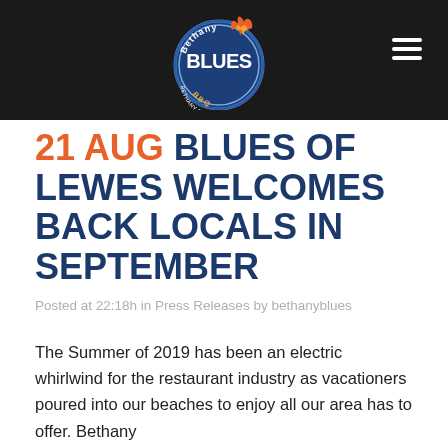[Figure (logo): Bethany Blues BBQ circular logo with blue and yellow design, flame element, on dark background]
21 Aug BLUES OF LEWES WELCOMES BACK LOCALS IN SEPTEMBER
Posted at 22:18h in Press Releases by bethanyblues
The Summer of 2019 has been an electric whirlwind for the restaurant industry as vacationers poured into our beaches to enjoy all our area has to offer. Bethany